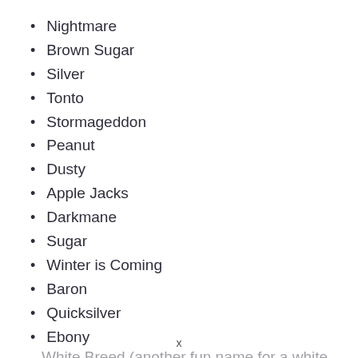Nightmare
Brown Sugar
Silver
Tonto
Stormageddon
Peanut
Dusty
Apple Jacks
Darkmane
Sugar
Winter is Coming
Baron
Quicksilver
Ebony
White Breed (another fun name for a white...
x